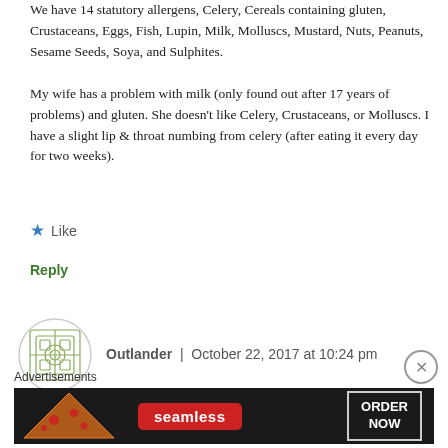We have 14 statutory allergens, Celery, Cereals containing gluten, Crustaceans, Eggs, Fish, Lupin, Milk, Molluscs, Mustard, Nuts, Peanuts, Sesame Seeds, Soya, and Sulphites.

My wife has a problem with milk (only found out after 17 years of problems) and gluten. She doesn't like Celery, Crustaceans, or Molluscs. I have a slight lip & throat numbing from celery (after eating it every day for two weeks).
★ Like
Reply
Outlander | October 22, 2017 at 10:24 pm
[Figure (logo): Seamless food delivery advertisement banner with pizza image, seamless logo in red, and ORDER NOW button]
Advertisements